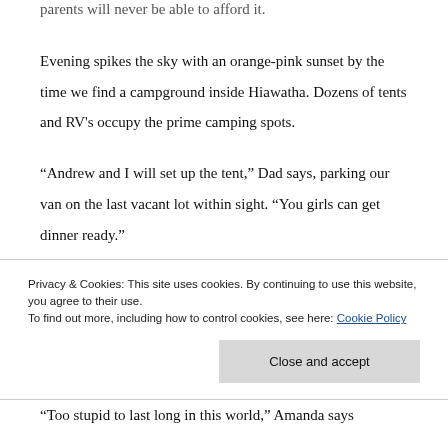parents will never be able to afford it.
Evening spikes the sky with an orange-pink sunset by the time we find a campground inside Hiawatha. Dozens of tents and RV's occupy the prime camping spots.
“Andrew and I will set up the tent,” Dad says, parking our van on the last vacant lot within sight. “You girls can get dinner ready.”
Kids, loud and ready, as Grandpa would say—
Privacy & Cookies: This site uses cookies. By continuing to use this website, you agree to their use.
To find out more, including how to control cookies, see here: Cookie Policy
“Too stupid to last long in this world,” Amanda says